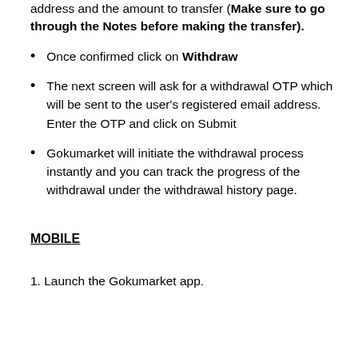address and the amount to transfer (Make sure to go through the Notes before making the transfer).
Once confirmed click on Withdraw
The next screen will ask for a withdrawal OTP which will be sent to the user's registered email address. Enter the OTP and click on Submit
Gokumarket will initiate the withdrawal process instantly and you can track the progress of the withdrawal under the withdrawal history page.
MOBILE
1. Launch the Gokumarket app.